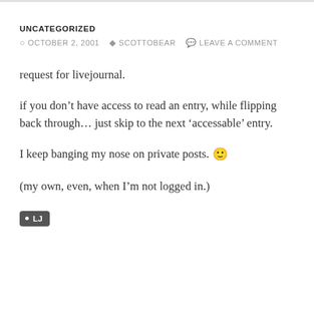UNCATEGORIZED
OCTOBER 2, 2001  SCOTTOBEAR  LEAVE A COMMENT
request for livejournal.
if you don't have access to read an entry, while flipping back through… just skip to the next 'accessable' entry.
I keep banging my nose on private posts. 🙂
(my own, even, when I'm not logged in.)
LJ